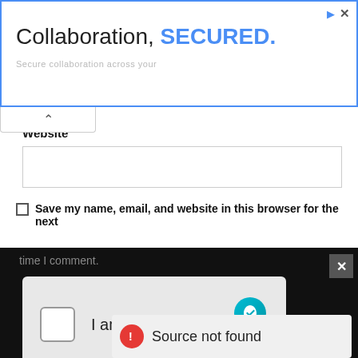[Figure (screenshot): Advertisement banner: 'Collaboration, SECURED.' with blue border and ad icons]
Website
[Figure (screenshot): Website text input field (empty)]
Save my name, email, and website in this browser for the next time I comment.
[Figure (screenshot): hCaptcha widget with checkbox, 'I am human' label, hCaptcha logo, Privacy and Terms links]
[Figure (screenshot): Error panel: red exclamation icon with 'Source not found' text]
[Figure (screenshot): Post Comment blue button]
[Figure (screenshot): Bottom gradient bar]